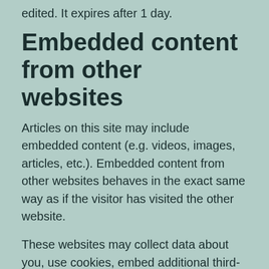edited. It expires after 1 day.
Embedded content from other websites
Articles on this site may include embedded content (e.g. videos, images, articles, etc.). Embedded content from other websites behaves in the exact same way as if the visitor has visited the other website.
These websites may collect data about you, use cookies, embed additional third-party tracking, and monitor your interaction with that